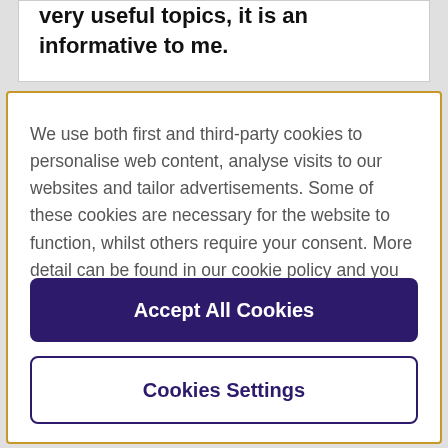very useful topics, it is an informative to me.
We use both first and third-party cookies to personalise web content, analyse visits to our websites and tailor advertisements. Some of these cookies are necessary for the website to function, whilst others require your consent. More detail can be found in our cookie policy and you can tailor your choices in the preference centre.
Accept All Cookies
Cookies Settings